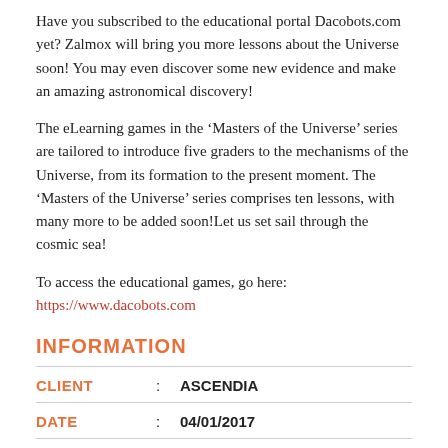Have you subscribed to the educational portal Dacobots.com yet? Zalmox will bring you more lessons about the Universe soon! You may even discover some new evidence and make an amazing astronomical discovery!
The eLearning games in the ‘Masters of the Universe’ series are tailored to introduce five graders to the mechanisms of the Universe, from its formation to the present moment. The ‘Masters of the Universe’ series comprises ten lessons, with many more to be added soon!Let us set sail through the cosmic sea!
To access the educational games, go here: https://www.dacobots.com
INFORMATION
| Field | Separator | Value |
| --- | --- | --- |
| CLIENT | : | ASCENDIA |
| DATE | : | 04/01/2017 |